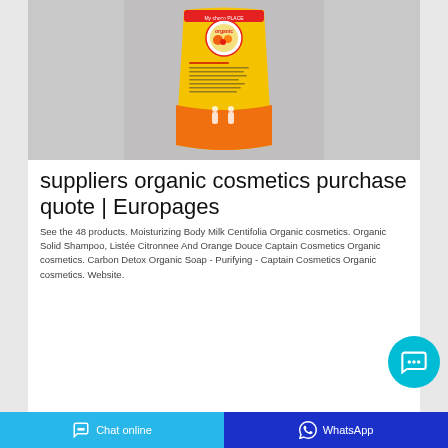[Figure (photo): Yellow and orange product bag/pouch for organic cosmetics product, photographed against a grey background. The bag has circular logo at top, product text on the front, and orange lower portion.]
suppliers organic cosmetics purchase quote | Europages
See the 48 products. Moisturizing Body Milk Centifolia Organic cosmetics. Organic Solid Shampoo, Listée Citronnee And Orange Douce Captain Cosmetics Organic cosmetics. Carbon Detox Organic Soap - Purifying - Captain Cosmetics Organic cosmetics. Website.